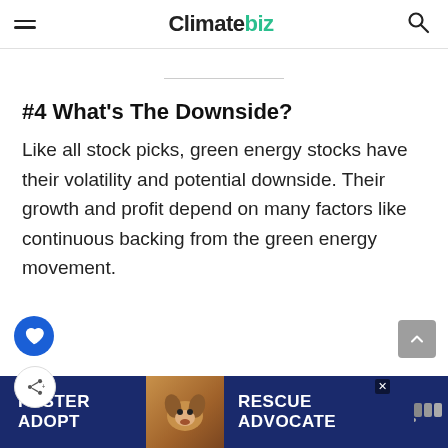Climatebiz
#4 What's The Downside?
Like all stock picks, green energy stocks have their volatility and potential downside. Their growth and profit depend on many factors like continuous backing from the green energy movement.
That's why we recommend a diversified portfolio fo...
[Figure (other): Foster Adopt Rescue Advocate advertisement banner with a dog photo]